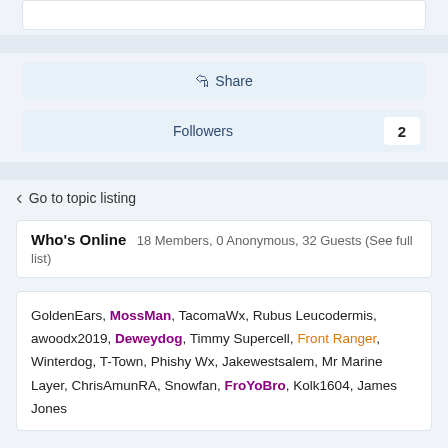Share
Followers  2
Go to topic listing
Who's Online  18 Members, 0 Anonymous, 32 Guests (See full list)
GoldenEars, MossMan, TacomaWx, Rubus Leucodermis, awoodx2019, Deweydog, Timmy Supercell, Front Ranger, Winterdog, T-Town, Phishy Wx, Jakewestsalem, Mr Marine Layer, ChrisAmunRA, Snowfan, FroYoBro, Kolk1604, James Jones